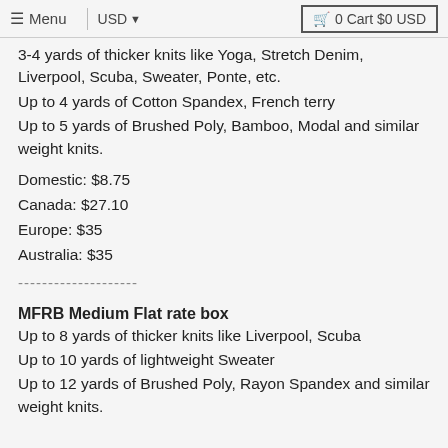≡ Menu  USD ▾  🛒 0 Cart $0 USD
3-4 yards of thicker knits like Yoga, Stretch Denim, Liverpool, Scuba, Sweater, Ponte, etc.
Up to 4 yards of Cotton Spandex, French terry
Up to 5 yards of Brushed Poly, Bamboo, Modal and similar weight knits.
Domestic: $8.75
Canada: $27.10
Europe: $35
Australia: $35
--------------------
MFRB Medium Flat rate box
Up to 8 yards of thicker knits like Liverpool, Scuba
Up to 10 yards of lightweight Sweater
Up to 12 yards of Brushed Poly, Rayon Spandex and similar weight knits.